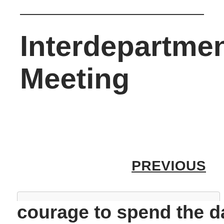Interdepartmental Meeting
PREVIOUS
Privacy & Cookies: This site uses cookies. By continuing to use this website, you agree to their use.
To find out more, including how to control cookies, see here: Cookie Policy
Close and accept
courage to spend the day watching